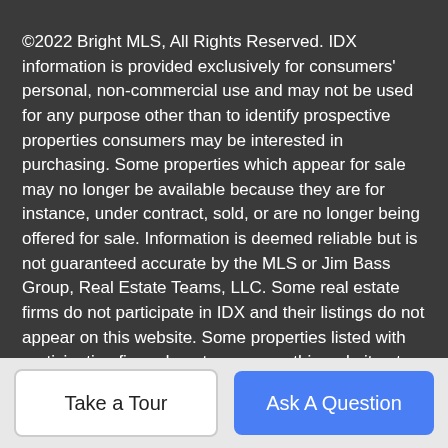©2022 Bright MLS, All Rights Reserved. IDX information is provided exclusively for consumers' personal, non-commercial use and may not be used for any purpose other than to identify prospective properties consumers may be interested in purchasing. Some properties which appear for sale may no longer be available because they are for instance, under contract, sold, or are no longer being offered for sale. Information is deemed reliable but is not guaranteed accurate by the MLS or Jim Bass Group, Real Estate Teams, LLC. Some real estate firms do not participate in IDX and their listings do not appear on this website. Some properties listed with participating firms do not appear on this website at the request of the seller. Data last updated: 2022-08-31T19:20:02.783.
Real Estate Teams, LLC: 301-695-3020
Take a Tour
Ask A Question